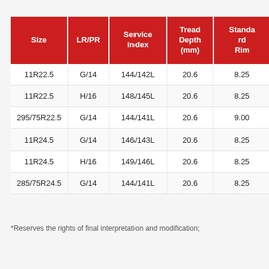| Size | LR/PR | Service index | Tread Depth (mm) | Standard Rim |
| --- | --- | --- | --- | --- |
| 11R22.5 | G/14 | 144/142L | 20.6 | 8.25 |
| 11R22.5 | H/16 | 148/145L | 20.6 | 8.25 |
| 295/75R22.5 | G/14 | 144/141L | 20.6 | 9.00 |
| 11R24.5 | G/14 | 146/143L | 20.6 | 8.25 |
| 11R24.5 | H/16 | 149/146L | 20.6 | 8.25 |
| 285/75R24.5 | G/14 | 144/141L | 20.6 | 8.25 |
*Reserves the rights of final interpretation and modification;